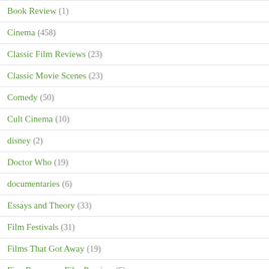Book Review (1)
Cinema (458)
Classic Film Reviews (23)
Classic Movie Scenes (23)
Comedy (50)
Cult Cinema (10)
disney (2)
Doctor Who (19)
documentaries (6)
Essays and Theory (33)
Film Festivals (31)
Films That Got Away (19)
Five Reasons – Film Preview (5)